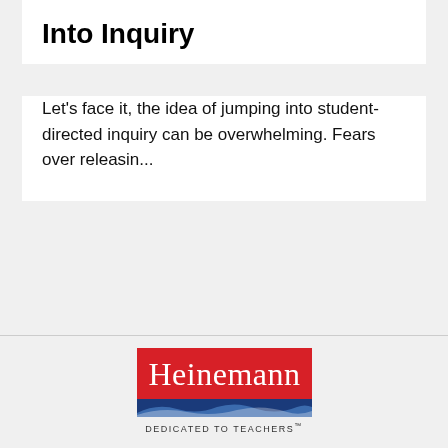Into Inquiry
Let's face it, the idea of jumping into student-directed inquiry can be overwhelming. Fears over releasin...
[Figure (logo): Heinemann publisher logo — red rectangle with white serif 'Heinemann' text, blue wave stripe below, tagline 'Dedicated to Teachers™']